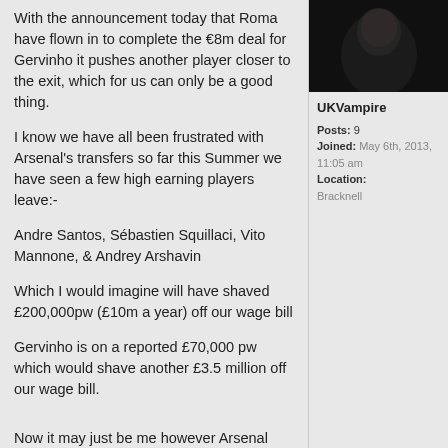[Figure (photo): Dark profile photo of user UKVampire]
UKVampire
Posts: 9
Joined: May 6th, 2013, 11:05 am
Location: Bracknell
With the announcement today that Roma have flown in to complete the €8m deal for Gervinho it pushes another player closer to the exit, which for us can only be a good thing.
I know we have all been frustrated with Arsenal's transfers so far this Summer we have seen a few high earning players leave:-
Andre Santos, Sébastien Squillaci, Vito Mannone, & Andrey Arshavin
Which I would imagine will have shaved £200,000pw (£10m a year) off our wage bill
Gervinho is on a reported £70,000 pw which would shave another £3.5 million off our wage bill.
Now it may just be me however Arsenal have done what is necessary in getting rid of the above players and potentially Gervinho, however it does now put the club in a position